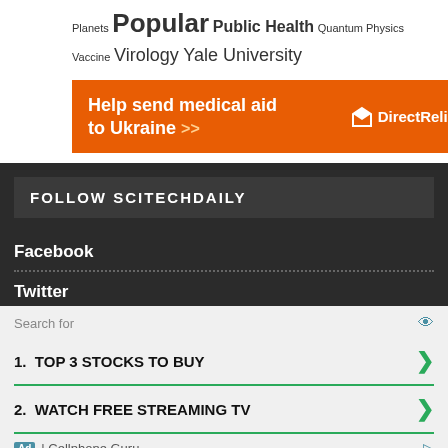Planets Popular Public Health Quantum Physics
Vaccine Virology Yale University
[Figure (infographic): Orange advertisement banner reading 'Help send medical aid to Ukraine >>' with Direct Relief logo on the right]
FOLLOW SCITECHDAILY
Facebook
Twitter
Search for
1.  TOP 3 STOCKS TO BUY
2.  WATCH FREE STREAMING TV
Ad | Cellphone Guru